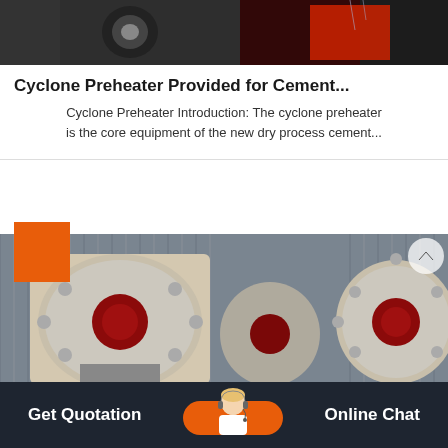[Figure (photo): Industrial machinery close-up showing mechanical components with red and dark metallic parts at top of page]
Cyclone Preheater Provided for Cement...
Cyclone Preheater Introduction: The cyclone preheater is the core equipment of the new dry process cement...
[Figure (photo): Industrial jaw crusher machines with beige/cream and dark red circular ends in a factory setting with corrugated metal walls]
Get Quotation    Online Chat